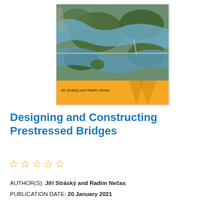[Figure (photo): Book cover of 'Designing and Constructing Prestressed Bridges' showing an aerial photograph of a bridge over a river surrounded by forested landscape, with an orange banner at the bottom reading 'Jiří Stráský and Radim Nečas']
Designing and Constructing Prestressed Bridges
☆☆☆☆☆
AUTHOR(S): Jiří Stráský and Radim Nečas
PUBLICATION DATE: 20 January 2021